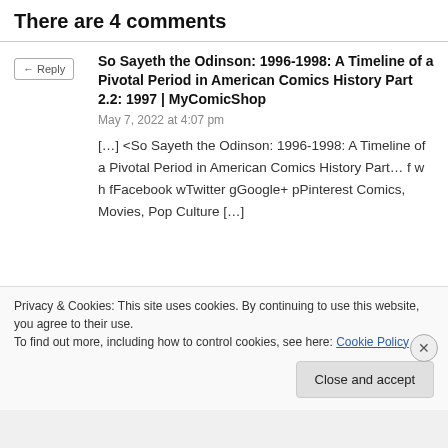There are 4 comments
So Sayeth the Odinson: 1996-1998: A Timeline of a Pivotal Period in American Comics History Part 2.2: 1997 | MyComicShop
May 7, 2022 at 4:07 pm
[…] <So Sayeth the Odinson: 1996-1998: A Timeline of a Pivotal Period in American Comics History Part… f w h fFacebook wTwitter gGoogle+ pPinterest Comics, Movies, Pop Culture […]
Privacy & Cookies: This site uses cookies. By continuing to use this website, you agree to their use.
To find out more, including how to control cookies, see here: Cookie Policy
Close and accept